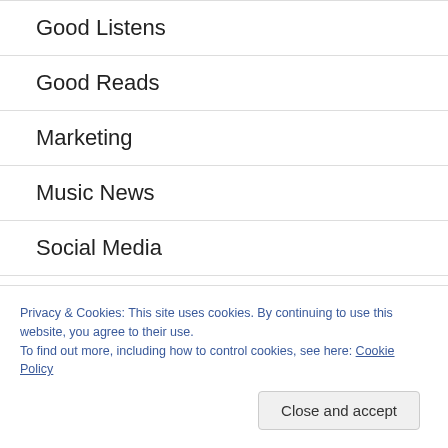Good Listens
Good Reads
Marketing
Music News
Social Media
Privacy & Cookies: This site uses cookies. By continuing to use this website, you agree to their use.
To find out more, including how to control cookies, see here: Cookie Policy
Close and accept